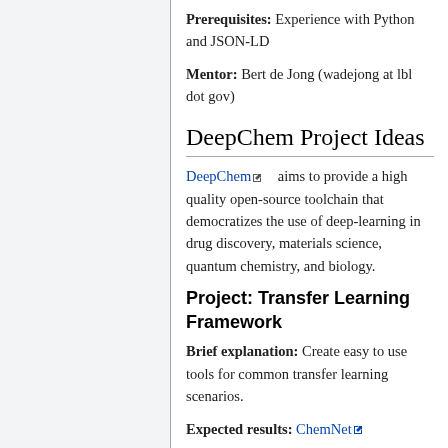Prerequisites: Experience with Python and JSON-LD
Mentor: Bert de Jong (wadejong at lbl dot gov)
DeepChem Project Ideas
DeepChem aims to provide a high quality open-source toolchain that democratizes the use of deep-learning in drug discovery, materials science, quantum chemistry, and biology.
Project: Transfer Learning Framework
Brief explanation: Create easy to use tools for common transfer learning scenarios.
Expected results: ChemNet